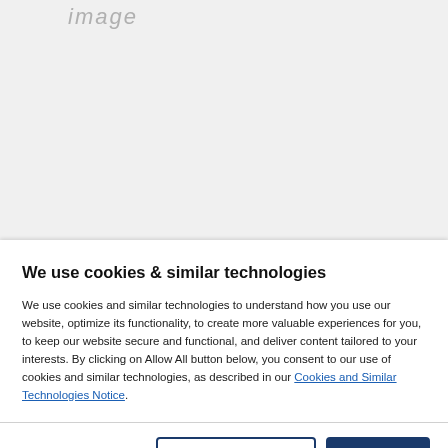[Figure (screenshot): Faded grey placeholder text reading 'image' in the top section background area]
We use cookies & similar technologies
We use cookies and similar technologies to understand how you use our website, optimize its functionality, to create more valuable experiences for you, to keep our website secure and functional, and deliver content tailored to your interests. By clicking on Allow All button below, you consent to our use of cookies and similar technologies, as described in our Cookies and Similar Technologies Notice.
Manage preferences
Accept all
[Figure (photo): Small broken image icon in bottom section]
Get in touch with our utilities team